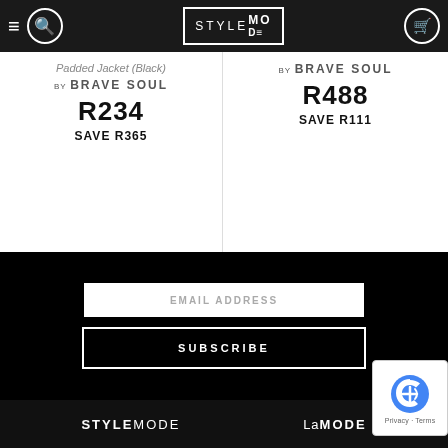StyleMode navigation header with logo, search, and cart icons
Padded Jacket (Black) by BRAVE SOUL R234 SAVE R365
by BRAVE SOUL R488 SAVE R111
[Figure (screenshot): Email address input field with placeholder text EMAIL ADDRESS]
[Figure (screenshot): Subscribe button]
STYLEMODE | LaMODE footer logos